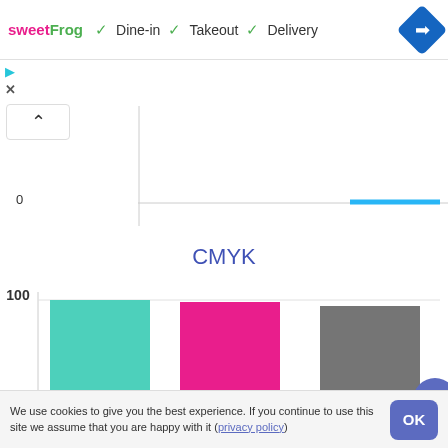sweetFrog  ✓ Dine-in  ✓ Takeout  ✓ Delivery
[Figure (bar-chart): Partial bar chart showing CMYK color values. Top portion shows a 0 axis label and a cyan horizontal line legend item. Bottom portion shows three bars: cyan/teal (~100), magenta/pink (~100), and gray (~95). Y-axis label: 100.]
We use cookies to give you the best experience. If you continue to use this site we assume that you are happy with it (privacy policy)